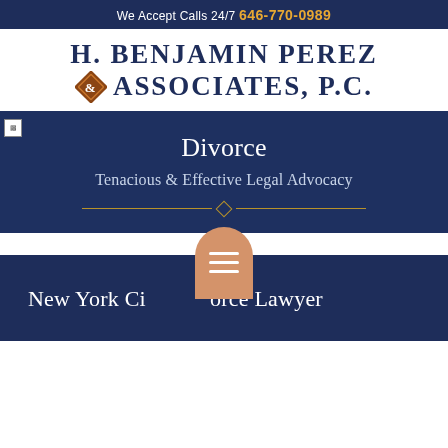We Accept Calls 24/7  646-770-0989
H. BENJAMIN PEREZ & ASSOCIATES, P.C.
[Figure (illustration): Law firm hero banner with dark navy background showing 'Divorce' as headline, 'Tenacious & Effective Legal Advocacy' as subtitle, and an ornamental gold divider with diamond center element]
[Figure (illustration): Dark navy section with golden/tan arch-shaped hamburger menu icon overlay and text 'New York City Divorce Lawyer']
New York City Divorce Lawyer